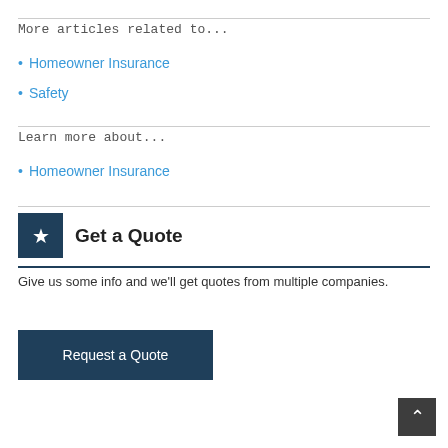More articles related to...
Homeowner Insurance
Safety
Learn more about...
Homeowner Insurance
Get a Quote
Give us some info and we'll get quotes from multiple companies.
Request a Quote